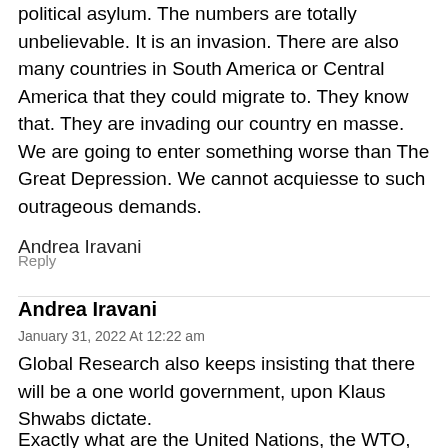political asylum. The numbers are totally unbelievable. It is an invasion. There are also many countries in South America or Central America that they could migrate to. They know that. They are invading our country en masse. We are going to enter something worse than The Great Depression. We cannot acquiesse to such outrageous demands.
Andrea Iravani
Reply
Andrea Iravani
January 31, 2022 At 12:22 am
Global Research also keeps insisting that there will be a one world government, upon Klaus Shwabs dictate.
Exactly what are the United Nations, the WTO, BIS, Hague, ICC, IMF, World Bank, Interpol? Oh, they are